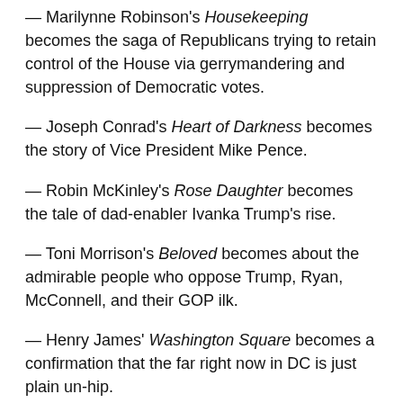— Marilynne Robinson's Housekeeping becomes the saga of Republicans trying to retain control of the House via gerrymandering and suppression of Democratic votes.
— Joseph Conrad's Heart of Darkness becomes the story of Vice President Mike Pence.
— Robin McKinley's Rose Daughter becomes the tale of dad-enabler Ivanka Trump's rise.
— Toni Morrison's Beloved becomes about the admirable people who oppose Trump, Ryan, McConnell, and their GOP ilk.
— Henry James' Washington Square becomes a confirmation that the far right now in DC is just plain un-hip.